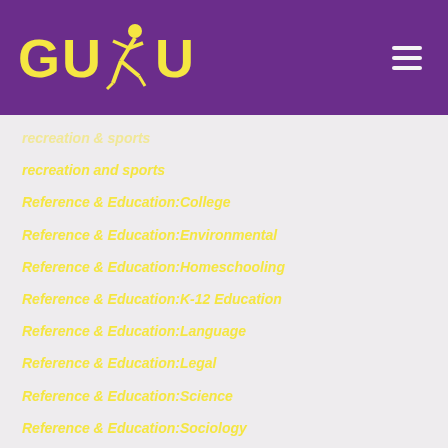[Figure (logo): GUBU logo with yellow text and running figure on purple background]
recreation and sports
Reference & Education:College
Reference & Education:Environmental
Reference & Education:Homeschooling
Reference & Education:K-12 Education
Reference & Education:Language
Reference & Education:Legal
Reference & Education:Science
Reference & Education:Sociology
Reference & EducationCollege
Reference & EducationEnvironmental
Reference & EducationHomeschooling